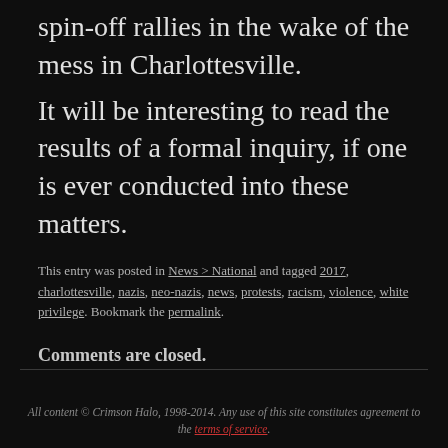spin-off rallies in the wake of the mess in Charlottesville.
It will be interesting to read the results of a formal inquiry, if one is ever conducted into these matters.
This entry was posted in News > National and tagged 2017, charlottesville, nazis, neo-nazis, news, protests, racism, violence, white privilege. Bookmark the permalink.
Comments are closed.
All content © Crimson Halo, 1998-2014. Any use of this site constitutes agreement to the terms of service.